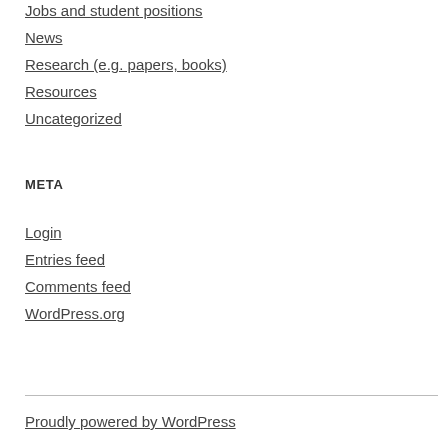Jobs and student positions
News
Research (e.g. papers, books)
Resources
Uncategorized
META
Login
Entries feed
Comments feed
WordPress.org
Proudly powered by WordPress